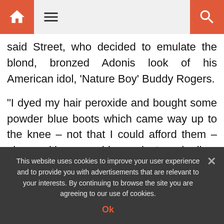Home menu search
said Street, who decided to emulate the blond, bronzed Adonis look of his American idol, 'Nature Boy' Buddy Rogers.

"I dyed my hair peroxide and bought some powder blue boots which came way up to the knee – not that I could afford them – along with some blue velvet and silver lamé and took them to this
This website uses cookies to improve your user experience and to provide you with advertisements that are relevant to your interests. By continuing to browse the site you are agreeing to our use of cookies.
Ok